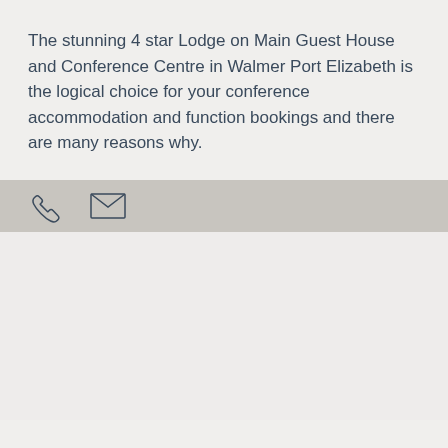The stunning 4 star Lodge on Main Guest House and Conference Centre in Walmer Port Elizabeth is the logical choice for your conference accommodation and function bookings and there are many reasons why.
[Figure (infographic): A contact bar with a phone icon and an email/envelope icon on a grey background.]